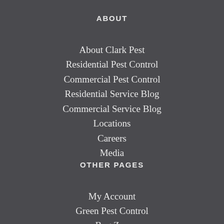ABOUT
About Clark Pest
Residential Pest Control
Commercial Pest Control
Residential Service Blog
Commercial Service Blog
Locations
Careers
Media
OTHER PAGES
My Account
Green Pest Control
Bug Zoo
News & Events